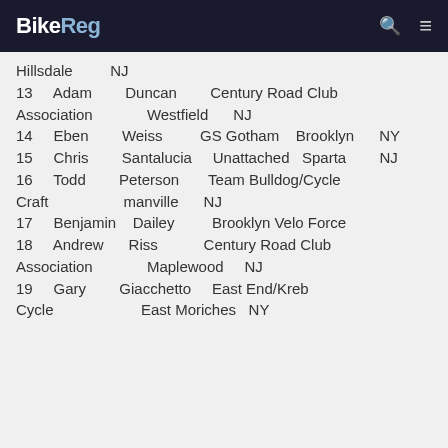BikeReg
Hillsdale    NJ
13    Adam    Duncan    Century Road Club Association    Westfield    NJ
14    Eben    Weiss    GS Gotham    Brooklyn    NY
15    Chris    Santalucia    Unattached    Sparta    NJ
16    Todd    Peterson    Team Bulldog/Cycle Craft    manville    NJ
17    Benjamin    Dailey    Brooklyn Velo Force
18    Andrew    Riss    Century Road Club Association    Maplewood    NJ
19    Gary    Giacchetto    East End/Kreb Cycle    East Moriches    NY